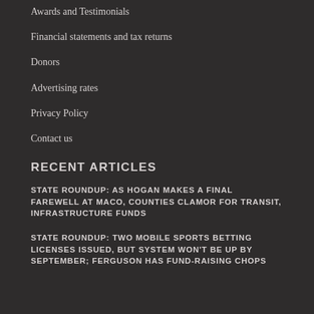Awards and Testimonials
Financial statements and tax returns
Donors
Advertising rates
Privacy Policy
Contact us
RECENT ARTICLES
STATE ROUNDUP: AS HOGAN MAKES A FINAL FAREWELL AT MACO, COUNTIES CLAMOR FOR TRANSIT, INFRASTRUCTURE FUNDS
STATE ROUNDUP: TWO MOBILE SPORTS BETTING LICENSES ISSUED, BUT SYSTEM WON'T BE UP BY SEPTEMBER; FERGUSON HAS FUND-RAISING CHOPS